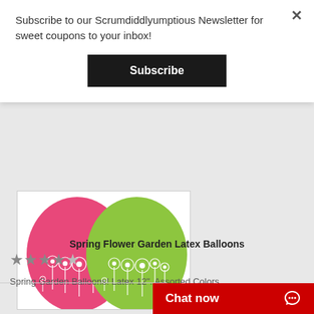Subscribe to our Scrumdiddlyumptious Newsletter for sweet coupons to your inbox!
Subscribe
[Figure (photo): Two latex balloons — one pink and one lime green — with white daisy/sunflower garden prints on them.]
Spring Flower Garden Latex Balloons
★★★★★
Spring Garden Balloons! Latex 12". Assorted Colors.
Chat now